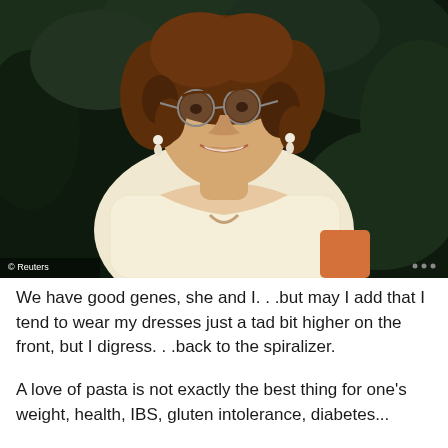[Figure (photo): Photograph of a woman with curly brown hair wearing glasses and a low-cut cream/white lacy dress, smiling, photographed outdoors with dark foliage in background. Reuters watermark in lower left corner.]
We have good genes, she and I. . .but may I add that I tend to wear my dresses just a tad bit higher on the front, but I digress. . .back to the spiralizer.
A love of pasta is not exactly the best thing for one's weight, health, IBS, gluten intolerance, diabetes...